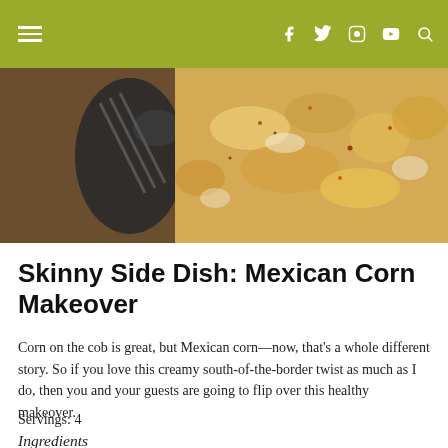Navigation bar with hamburger menu and social icons (Facebook, Twitter, Instagram, YouTube, Search)
[Figure (photo): A dark bowl filled with Mexican street corn (elote) with spices, sitting on a wooden surface with a black spoon to the left]
Skinny Side Dish: Mexican Corn Makeover
Corn on the cob is great, but Mexican corn—now, that's a whole different story. So if you love this creamy south-of-the-border twist as much as I do, then you and your guests are going to flip over this healthy makeover.
Servings: 4
Ingredients